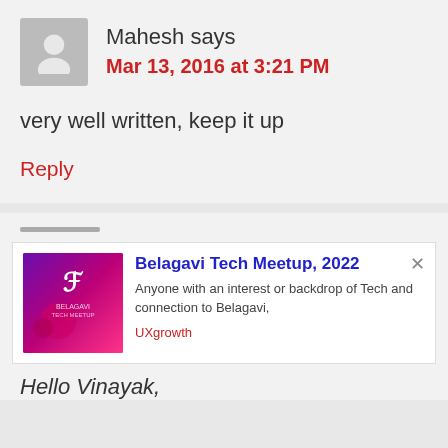Mahesh says
Mar 13, 2016 at 3:21 PM
very well written, keep it up
Reply
[Figure (illustration): Purple/pink gradient event image for Belagavi Tech Meetup 2022]
Belagavi Tech Meetup, 2022
Anyone with an interest or backdrop of Tech and connection to Belagavi,
UXgrowth
Hello Vinayak,